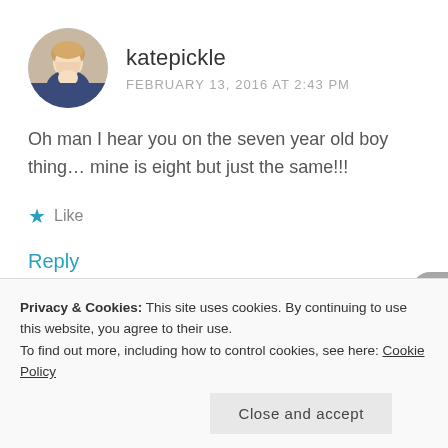[Figure (photo): Circular avatar photo of a woman with light hair, smiling, in front of a colorful background.]
katepickle
FEBRUARY 13, 2016 AT 2:43 PM
Oh man I hear you on the seven year old boy thing… mine is eight but just the same!!!
★ Like
Reply
Privacy & Cookies: This site uses cookies. By continuing to use this website, you agree to their use.
To find out more, including how to control cookies, see here: Cookie Policy
Close and accept